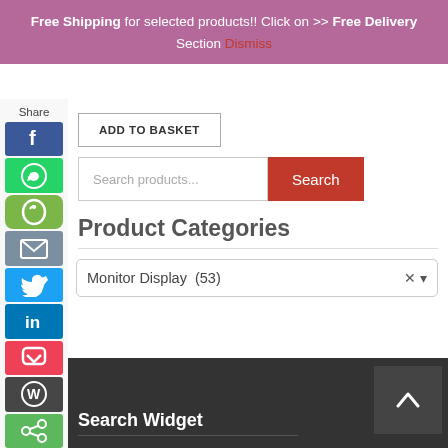Free Shipping for selected products!! Click on >> Free Delivery Section Dismiss
[Figure (screenshot): Social sharing sidebar with icons: Share label, Facebook (blue), WhatsApp (green), Evernote (green), Email (grey-blue), Twitter (light blue), LinkedIn (blue), Pocket (red), WordPress (dark), Share (green)]
ADD TO BASKET
Search products...
Search
Product Categories
Monitor Display  (53)
Search Widget